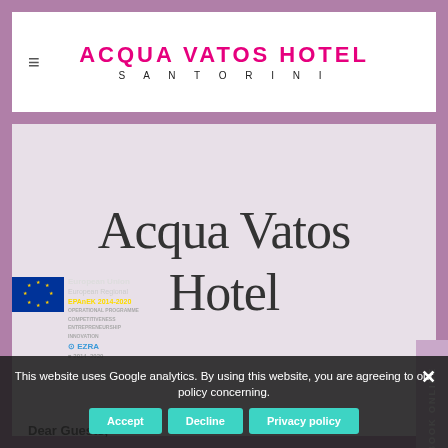ACQUA VATOS HOTEL SANTORINI
Acqua Vatos Hotel
BOOK ONLINE
[Figure (logo): European Union and EPAnEK 2014-2020 programme logos with EZRA branding]
This website uses Google analytics. By using this website, you are agreeing to our policy concerning.
Accept | Decline | Privacy policy
Dear Guests,